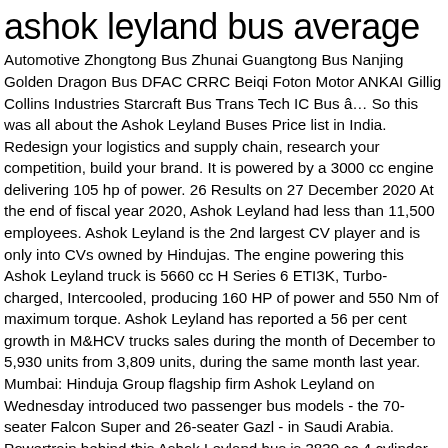ashok leyland bus average
Automotive Zhongtong Bus Zhunai Guangtong Bus Nanjing Golden Dragon Bus DFAC CRRC Beiqi Foton Motor ANKAI Gillig Collins Industries Starcraft Bus Trans Tech IC Bus â€¦ So this was all about the Ashok Leyland Buses Price list in India. Redesign your logistics and supply chain, research your competition, build your brand. It is powered by a 3000 cc engine delivering 105 hp of power. 26 Results on 27 December 2020 At the end of fiscal year 2020, Ashok Leyland had less than 11,500 employees. Ashok Leyland is the 2nd largest CV player and is only into CVs owned by Hindujas. The engine powering this Ashok Leyland truck is 5660 cc H Series 6 ETI3K, Turbo-charged, Intercooled, producing 160 HP of power and 550 Nm of maximum torque. Ashok Leyland has reported a 56 per cent growth in M&HCV trucks sales during the month of December to 5,930 units from 3,809 units, during the same month last year. Mumbai: Hinduja Group flagship firm Ashok Leyland on Wednesday introduced two passenger bus models - the 70-seater Falcon Super and 26-seater Gazl - in Saudi Arabia. Powertrain behind this Ashok Leyland bus is 3839 cc 4 cylinder H-Series CRS, With iEGR Technology engine. Ashok Leyland is an automobile manufacturing company, based in Chennai, India. Manufactured at the company's Ras Al Khaimah facility in the UAE, Falcon buses will be